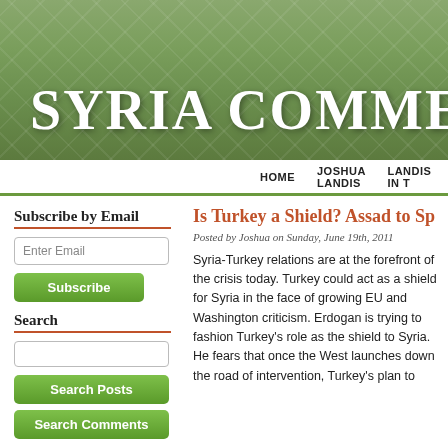SYRIA COMMENT
HOME   JOSHUA LANDIS   LANDIS IN T…
Subscribe by Email
Enter Email
Subscribe
Search
Search Posts
Search Comments
Is Turkey a Shield? Assad to Sp…
Posted by Joshua on Sunday, June 19th, 2011
Syria-Turkey relations are at the forefront of the crisis today. Turkey could act as a shield for Syria in the face of growing EU and Washington criticism. Erdogan is trying to fashion Turkey's role as the shield to Syria. He fears that once the West launches down the road of intervention, Turkey's plan to…